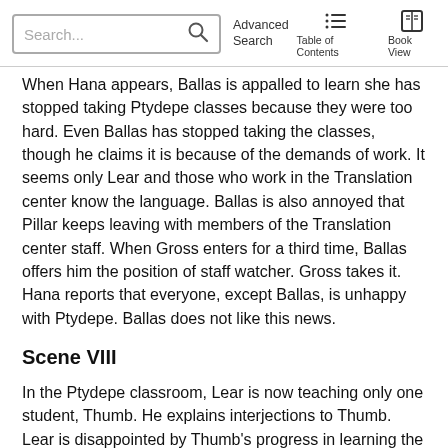Search... | Advanced Search | Table of Contents | Book View
When Hana appears, Ballas is appalled to learn she has stopped taking Ptydepe classes because they were too hard. Even Ballas has stopped taking the classes, though he claims it is because of the demands of work. It seems only Lear and those who work in the Translation center know the language. Ballas is also annoyed that Pillar keeps leaving with members of the Translation center staff. When Gross enters for a third time, Ballas offers him the position of staff watcher. Gross takes it. Hana reports that everyone, except Ballas, is unhappy with Ptydepe. Ballas does not like this news.
Scene VIII
In the Ptydepe classroom, Lear is now teaching only one student, Thumb. He explains interjections to Thumb. Lear is disappointed by Thumb's progress in learning the language. Lear throws Thumb out of